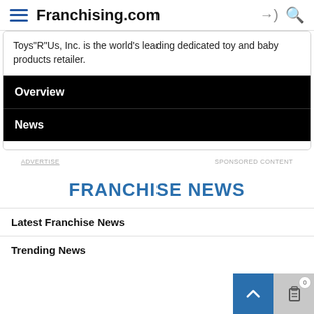Franchising.com
Toys"R"Us, Inc. is the world's leading dedicated toy and baby products retailer.
Overview
News
ADVERTISE   SPONSORED CONTENT
FRANCHISE NEWS
Latest Franchise News
Trending News